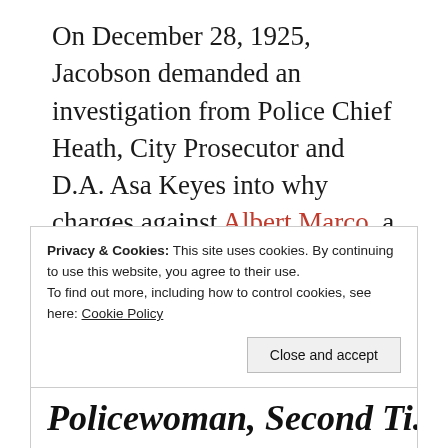On December 28, 1925, Jacobson demanded an investigation from Police Chief Heath, City Prosecutor and D.A. Asa Keyes into why charges against Albert Marco, a politically connected bootlegger and brothel operator who'd been arrested by a beat cop on Christmas day for felony assault with a deadly weapon, had inexplicably been reduced to one of a misdemeanor disturbing the peace.
Privacy & Cookies: This site uses cookies. By continuing to use this website, you agree to their use.
To find out more, including how to control cookies, see here: Cookie Policy